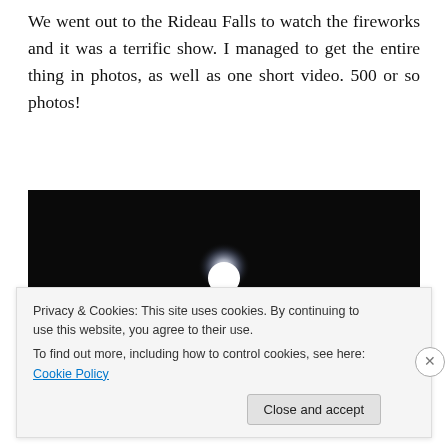We went out to the Rideau Falls to watch the fireworks and it was a terrific show. I managed to get the entire thing in photos, as well as one short video. 500 or so photos!
[Figure (photo): Nighttime photo showing fireworks exploding near the bottom of the frame with bright streaks of light against a dark black sky, with a bright glowing moon or light source visible in the upper center of the image.]
Privacy & Cookies: This site uses cookies. By continuing to use this website, you agree to their use. To find out more, including how to control cookies, see here: Cookie Policy